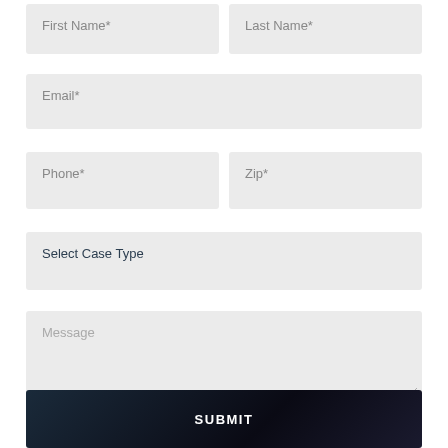First Name*
Last Name*
Email*
Phone*
Zip*
Select Case Type
Message
SUBMIT